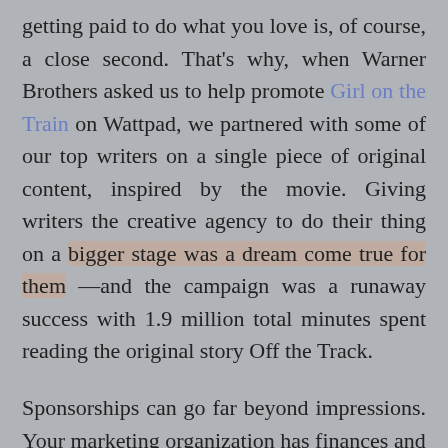getting paid to do what you love is, of course, a close second. That's why, when Warner Brothers asked us to help promote Girl on the Train on Wattpad, we partnered with some of our top writers on a single piece of original content, inspired by the movie. Giving writers the creative agency to do their thing on a bigger stage was a dream come true for them —and the campaign was a runaway success with 1.9 million total minutes spent reading the original story Off the Track.
Sponsorships can go far beyond impressions. Your marketing organization has finances and